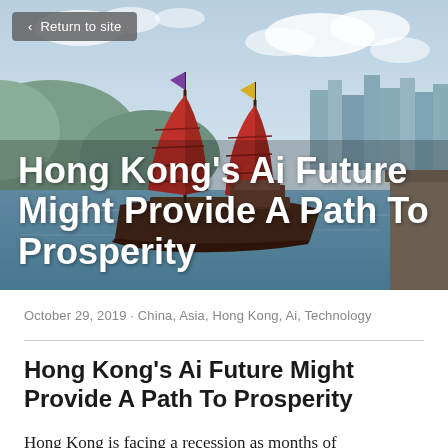[Figure (photo): Photograph of a traditional Chinese junk boat with red sails on Hong Kong harbour, with the city skyline and cloudy sky in the background.]
< Return to site
Hong Kong's Ai Future Might Provide A Path To Prosperity
October 29, 2019 · China, Asia, Hong Kong, Ai, Technology
Hong Kong's Ai Future Might Provide A Path To Prosperity
Hong Kong is facing a recession as months of